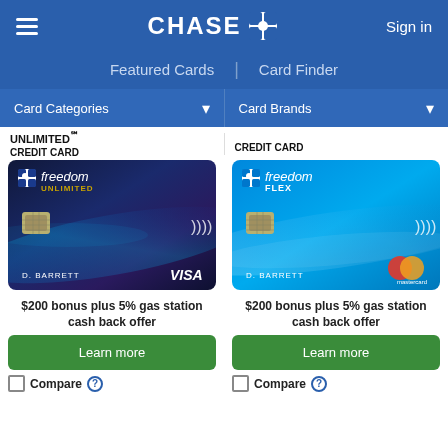[Figure (screenshot): Chase bank website header with hamburger menu, Chase logo, and Sign in link on dark blue background]
Featured Cards | Card Finder
Card Categories ▾   Card Brands ▾
UNLIMITED℠ CREDIT CARD
CREDIT CARD
[Figure (photo): Chase Freedom Unlimited credit card - dark blue/navy card with Chase logo, freedom unlimited text, D. BARRETT cardholder name, VISA logo]
[Figure (photo): Chase Freedom Flex credit card - light blue card with Chase logo, freedom FLEX text, D. BARRETT cardholder name, Mastercard logo]
$200 bonus plus 5% gas station cash back offer
$200 bonus plus 5% gas station cash back offer
Learn more
Learn more
Compare
Compare